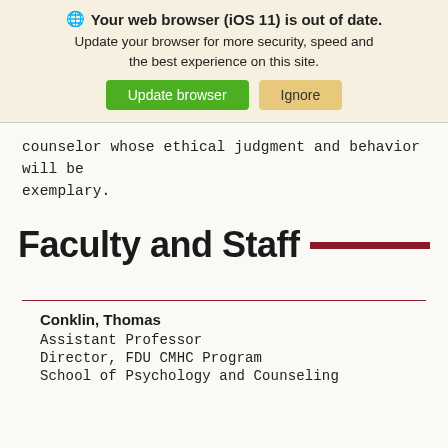[Figure (screenshot): Browser update warning banner with globe icon, bold heading 'Your web browser (iOS 11) is out of date.', body text, and two buttons: 'Update browser' (green) and 'Ignore' (tan/yellow).]
counselor whose ethical judgment and behavior will be exemplary.
Faculty and Staff
Conklin, Thomas
Assistant Professor
Director, FDU CMHC Program
School of Psychology and Counseling